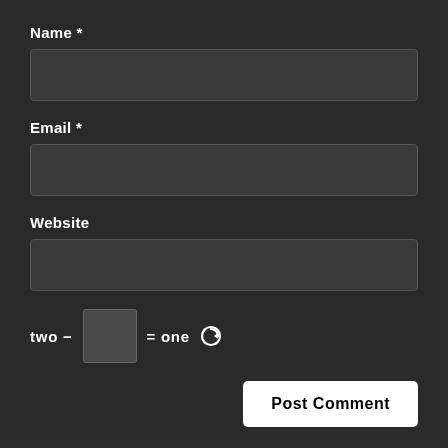Name *
[Figure (other): Empty text input field for Name]
Email *
[Figure (other): Empty text input field for Email]
Website
[Figure (other): Empty text input field for Website]
two − [input box] = one [refresh icon]
Post Comment